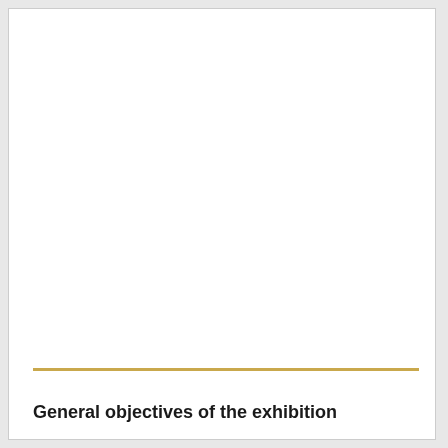General objectives of the exhibition